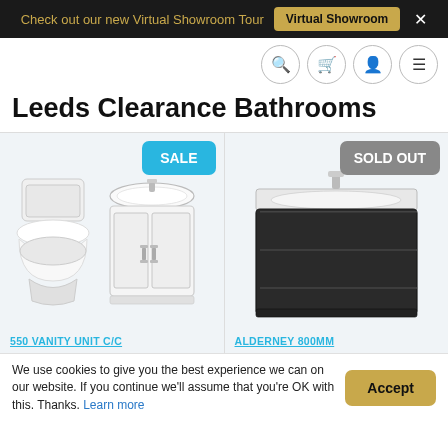Check out our new Virtual Showroom Tour   Virtual Showroom  ×
Leeds Clearance Bathrooms
[Figure (photo): White close-coupled toilet with cistern and a white vanity unit with basin, with a SALE badge in blue]
[Figure (photo): Dark grey floor-standing bathroom vanity unit with basin and chrome tap, with a SOLD OUT badge in grey]
550 VANITY UNIT C/C
ALDERNEY 800MM
We use cookies to give you the best experience we can on our website. If you continue we'll assume that you're OK with this. Thanks. Learn more   Accept